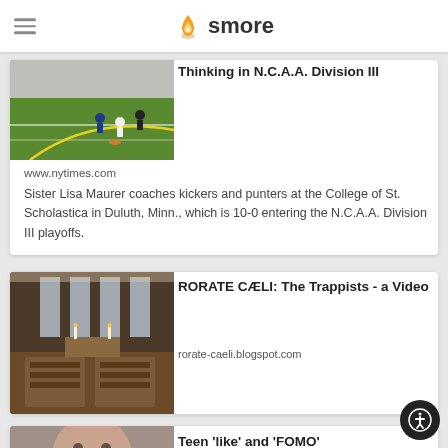smore
[Figure (photo): Soccer / football players on a green field with yellow lines]
Thinking in N.C.A.A. Division III
www.nytimes.com
Sister Lisa Maurer coaches kickers and punters at the College of St. Scholastica in Duluth, Minn., which is 10-0 entering the N.C.A.A. Division III playoffs.
[Figure (photo): Interior of a monastery chapel with wooden pews and high windows]
RORATE CÆLI: The Trappists - a Video
rorate-caeli.blogspot.com
[Figure (photo): Partial image of a person, with title Teen 'like' and 'FOMO']
Teen 'like' and 'FOMO'